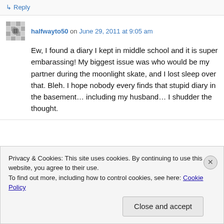↳ Reply
halfwayto50 on June 29, 2011 at 9:05 am
Ew, I found a diary I kept in middle school and it is super embarassing! My biggest issue was who would be my partner during the moonlight skate, and I lost sleep over that. Bleh. I hope nobody every finds that stupid diary in the basement… including my husband… I shudder the thought.
Privacy & Cookies: This site uses cookies. By continuing to use this website, you agree to their use.
To find out more, including how to control cookies, see here: Cookie Policy
Close and accept